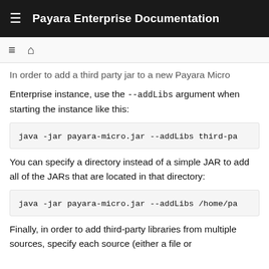Payara Enterprise Documentation
In order to add a third party jar to a new Payara Micro Enterprise instance, use the --addLibs argument when starting the instance like this:
java -jar payara-micro.jar --addLibs third-pa
You can specify a directory instead of a simple JAR to add all of the JARs that are located in that directory:
java -jar payara-micro.jar --addLibs /home/pa
Finally, in order to add third-party libraries from multiple sources, specify each source (either a file or